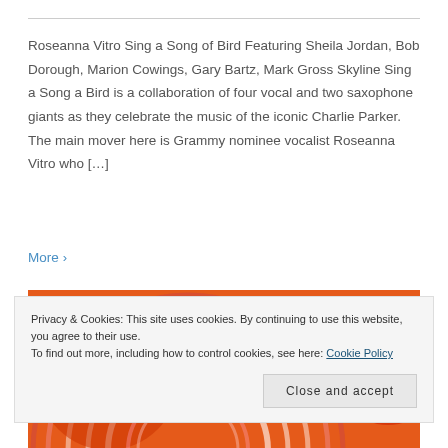Roseanna Vitro Sing a Song of Bird Featuring Sheila Jordan, Bob Dorough, Marion Cowings, Gary Bartz, Mark Gross Skyline Sing a Song a Bird is a collaboration of four vocal and two saxophone giants as they celebrate the music of the iconic Charlie Parker. The main mover here is Grammy nominee vocalist Roseanna Vitro who […]
More ›
[Figure (illustration): Colorful album cover art with orange and red circular concentric shapes on orange background, partial view]
Privacy & Cookies: This site uses cookies. By continuing to use this website, you agree to their use.
To find out more, including how to control cookies, see here: Cookie Policy
Close and accept